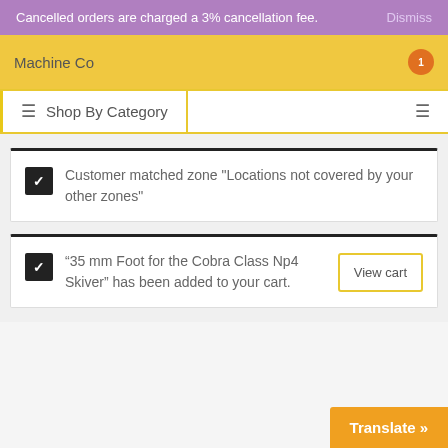Cancelled orders are charged a 3% cancellation fee. Dismiss
Machine Co
≡ Shop By Category
Customer matched zone "Locations not covered by your other zones"
"35 mm Foot for the Cobra Class Np4 Skiver" has been added to your cart.
View cart
Translate »